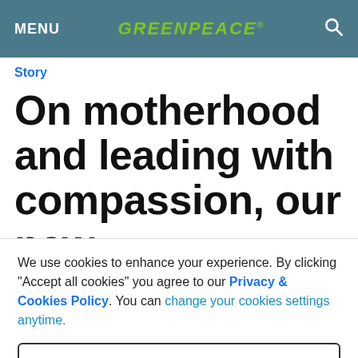MENU | GREENPEACE | [search icon]
Story
On motherhood and leading with compassion, our new
We use cookies to enhance your experience. By clicking "Accept all cookies" you agree to our Privacy & Cookies Policy. You can change your cookies settings anytime.
SETTINGS
ACCEPT ALL COOKIES